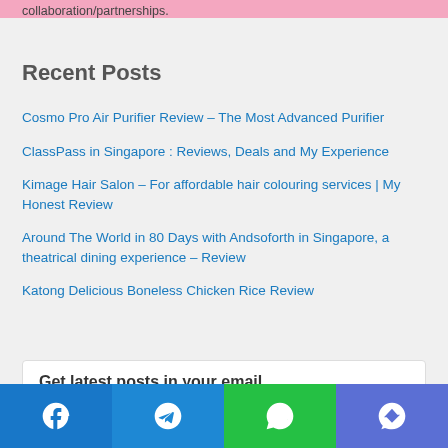collaboration/partnerships.
Recent Posts
Cosmo Pro Air Purifier Review – The Most Advanced Purifier
ClassPass in Singapore : Reviews, Deals and My Experience
Kimage Hair Salon – For affordable hair colouring services | My Honest Review
Around The World in 80 Days with Andsoforth in Singapore, a theatrical dining experience – Review
Katong Delicious Boneless Chicken Rice Review
Get latest posts in your email
Facebook | Telegram | WhatsApp | Messenger